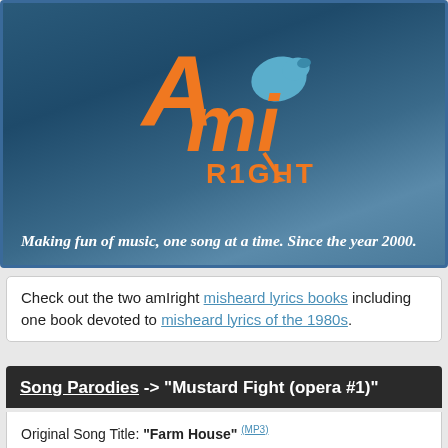[Figure (logo): AmIRight logo with orange stylized letters and blue bird, with text R1GHT below in orange, on a dark blue textured background]
Making fun of music, one song at a time. Since the year 2000.
Check out the two amIright misheard lyrics books including one book devoted to misheard lyrics of the 1980s.
Song Parodies -> "Mustard Fight (opera #1)"
Original Song Title: "Farm House" (MP3)
Original Performer: Phish